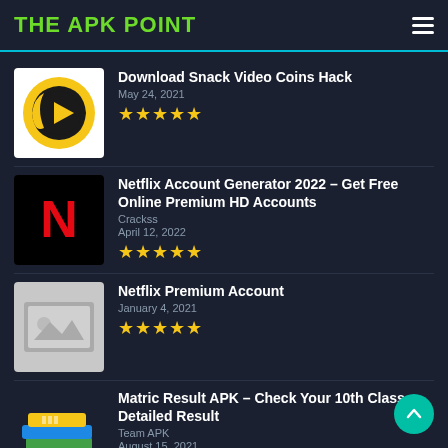THE APK POINT
Download Snack Video Coins Hack
May 24, 2021
★★★★★
Netflix Account Generator 2022 – Get Free Online Premium HD Accounts
Crackss
April 12, 2022
★★★★★
Netflix Premium Account
January 4, 2021
★★★★★
Matric Result APK – Check Your 10th Class Detailed Result
Team APK
August 15, 2021